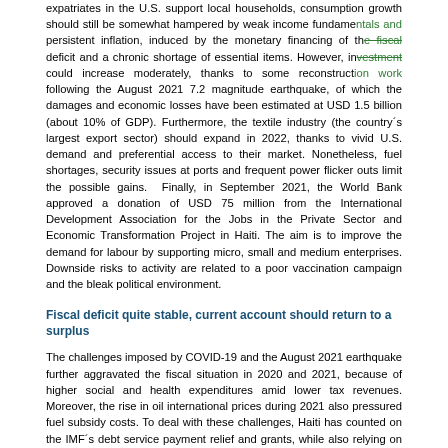expatriates in the U.S. support local households, consumption growth should still be somewhat hampered by weak income fundamentals and persistent inflation, induced by the monetary financing of the fiscal deficit and a chronic shortage of essential items. However, investment could increase moderately, thanks to some reconstruction work following the August 2021 7.2 magnitude earthquake, of which the damages and economic losses have been estimated at USD 1.5 billion (about 10% of GDP). Furthermore, the textile industry (the country's largest export sector) should expand in 2022, thanks to vivid U.S. demand and preferential access to their market. Nonetheless, fuel shortages, security issues at ports and frequent power flicker outs limit the possible gains.  Finally, in September 2021, the World Bank approved a donation of USD 75 million from the International Development Association for the Jobs in the Private Sector and Economic Transformation Project in Haiti. The aim is to improve the demand for labour by supporting micro, small and medium enterprises. Downside risks to activity are related to a poor vaccination campaign and the bleak political environment.
Fiscal deficit quite stable, current account should return to a surplus
The challenges imposed by COVID-19 and the August 2021 earthquake further aggravated the fiscal situation in 2020 and 2021, because of higher social and health expenditures amid lower tax revenues. Moreover, the rise in oil international prices during 2021 also pressured fuel subsidy costs. To deal with these challenges, Haiti has counted on the IMF's debt service payment relief and grants, while also relying on monetary financing and local commercial banks. Still, the country received roughly USD 224 million in August 2021 from the IMF Special Drawing Right (SDR) allocation. In 2022, the fiscal deficit should remain